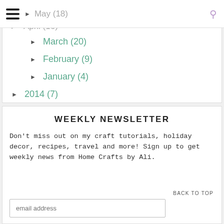≡  May (18)  [search icon]
► April (16)
► March (20)
► February (9)
► January (4)
► 2014 (7)
WEEKLY NEWSLETTER
Don't miss out on my craft tutorials, holiday decor, recipes, travel and more! Sign up to get weekly news from Home Crafts by Ali.
BACK TO TOP
email address